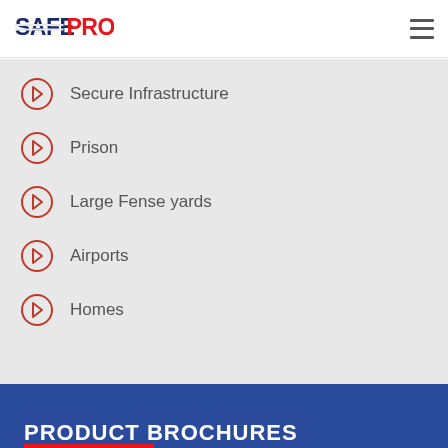[Figure (logo): SafePro logo with blue and red text]
Secure Infrastructure
Prison
Large Fense yards
Airports
Homes
PRODUCT BROCHURES